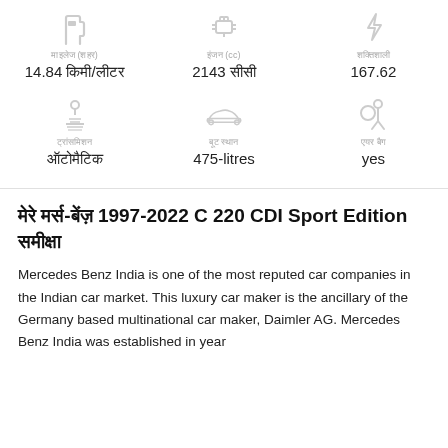14.84 किमी/लीटर — माइलेज (शहर)
2143 सीसी — इंजन (cc)
167.62 — शक्तिशाली
[Figure (infographic): Driver/transmission icon]
ट्रांसमिशन — ऑटोमैटिक
[Figure (infographic): Car boot/trunk icon]
बूट स्थान — 475-litres
[Figure (infographic): Seatbelt/passenger icon]
एयर बैग — yes
मेरे मर्स-बेंज़ 1997-2022 C 220 CDI Sport Edition समीक्षा
Mercedes Benz India is one of the most reputed car companies in the Indian car market. This luxury car maker is the ancillary of the Germany based multinational car maker, Daimler AG. Mercedes Benz India was established in year